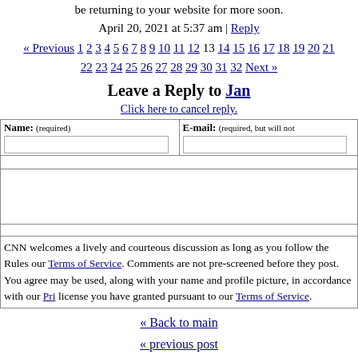be returning to your website for more soon.
April 20, 2021 at 5:37 am | Reply
« Previous 1 2 3 4 5 6 7 8 9 10 11 12 13 14 15 16 17 18 19 20 21 22 23 24 25 26 27 28 29 30 31 32 Next »
Leave a Reply to Jan
Click here to cancel reply.
| Name: (required) | E-mail: (required, but will not) |
| --- | --- |
|  |
CNN welcomes a lively and courteous discussion as long as you follow the Rules our Terms of Service. Comments are not pre-screened before they post. You agree may be used, along with your name and profile picture, in accordance with our Pri license you have granted pursuant to our Terms of Service.
« Back to main
« previous post